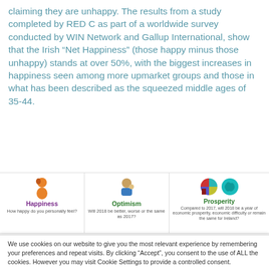claiming they are unhappy. The results from a study completed by RED C as part of a worldwide survey conducted by WIN Network and Gallup International, show that the Irish “Net Happiness” (those happy minus those unhappy) stands at over 50%, with the biggest increases in happiness seen among more upmarket groups and those in what has been described as the squeezed middle ages of 35-44.
[Figure (infographic): Three-panel infographic bar showing Happiness (How happy do you personally feel?), Optimism (Will 2018 be better, worse or the same as 2017?), and Prosperity (Compared to 2017, will 2018 be a year of economic prosperity, economic difficulty or remain the same for Ireland?) with respective icons.]
We use cookies on our website to give you the most relevant experience by remembering your preferences and repeat visits. By clicking “Accept”, you consent to the use of ALL the cookies. However you may visit Cookie Settings to provide a controlled consent.